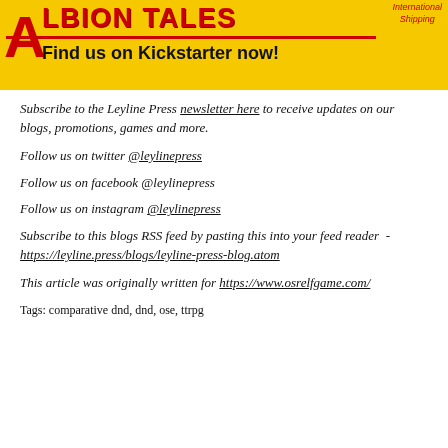[Figure (illustration): Albion Tales banner with red letter A, yellow background, red title text 'ALBION TALES', red underline, black subtitle 'Find us on Kickstarter now!', and 'International Shipping' text top right.]
Subscribe to the Leyline Press newsletter here to receive updates on our blogs, promotions, games and more.
Follow us on twitter @leylinepress
Follow us on facebook @leylinepress
Follow us on instagram @leylinepress
Subscribe to this blogs RSS feed by pasting this into your feed reader  - https://leyline.press/blogs/leyline-press-blog.atom
This article was originally written for https://www.osrelfgame.com/
Tags: comparative dnd, dnd, ose, ttrpg